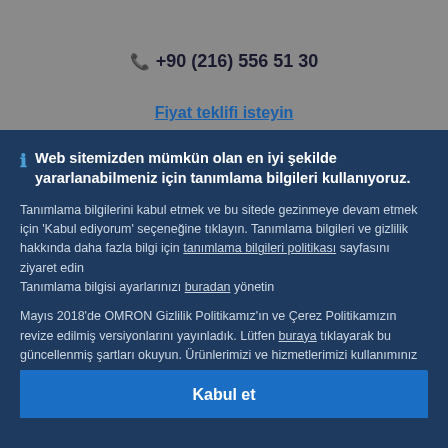+90 (216) 556 51 30
Fiyat teklifi isteyin
Web sitemizden mümkün olan en iyi şekilde yararlanabilmeniz için tanımlama bilgileri kullanıyoruz.
Tanımlama bilgilerini kabul etmek ve bu sitede gezinmeye devam etmek için 'Kabul ediyorum' seçeneğine tıklayın. Tanımlama bilgileri ve gizlilik hakkında daha fazla bilgi için tanımlama bilgileri politikası sayfasını ziyaret edin
Tanımlama bilgisi ayarlarınızı buradan yönetin
Mayıs 2018'de OMRON Gizlilik Politikamız'ın ve Çerez Politikamızın revize edilmiş versiyonlarını yayınladık. Lütfen buraya tıklayarak bu güncellenmiş şartları okuyun. Ürünlerimizi ve hizmetlerimizi kullanımınız bu revize edilmiş şartlara tabidir.
Kabul et